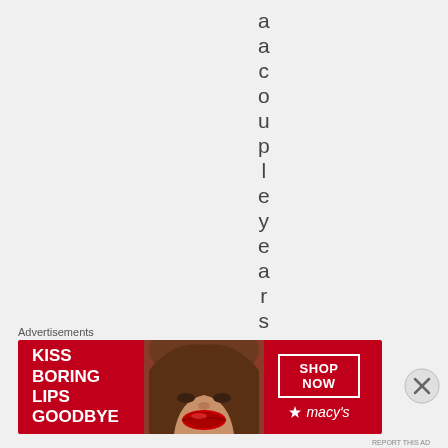a a c o u p l e y e a r s
[Figure (illustration): Close/dismiss button (circled X) in the upper right area of the page]
Advertisements
[Figure (illustration): Macy's advertisement banner: red background with text 'KISS BORING LIPS GOODBYE', photo of woman's face with red lips, 'SHOP NOW' button, and Macy's star logo]